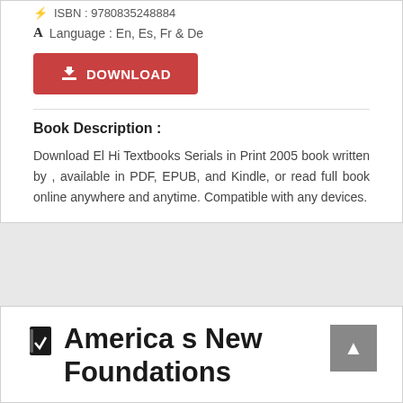ISBN : 9780835248884
Language : En, Es, Fr & De
[Figure (other): Red DOWNLOAD button with download icon]
Book Description :
Download El Hi Textbooks Serials in Print 2005 book written by , available in PDF, EPUB, and Kindle, or read full book online anywhere and anytime. Compatible with any devices.
America s New Foundations